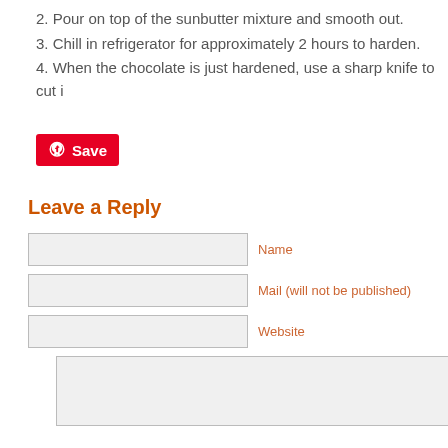2. Pour on top of the sunbutter mixture and smooth out.
3. Chill in refrigerator for approximately 2 hours to harden.
4. When the chocolate is just hardened, use a sharp knife to cut i
[Figure (other): Pinterest Save button with red background and Pinterest logo]
Leave a Reply
Name field
Mail (will not be published) field
Website field
Comment textarea